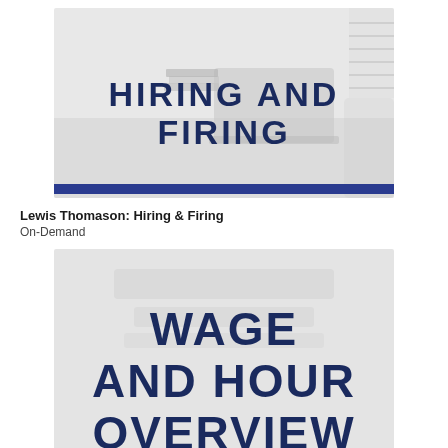[Figure (illustration): Office desk scene with laptop and books, dark navy text reading HIRING AND FIRING overlaid on a light gray background with a blue horizontal bar at the bottom]
Lewis Thomason: Hiring & Firing
On-Demand
[Figure (illustration): Blurred office/document background in light gray with large dark navy bold text reading WAGE AND HOUR OVERVIEW]